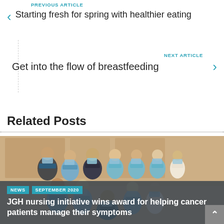PREVIOUS ARTICLE
Starting fresh for spring with healthier eating
NEXT ARTICLE
Get into the flow of breastfeeding
Related Posts
[Figure (photo): Group of medical staff wearing blue surgical masks posing for a photo indoors in a clinical setting.]
NEWS  SEPTEMBER 2020
JGH nursing initiative wins award for helping cancer patients manage their symptoms